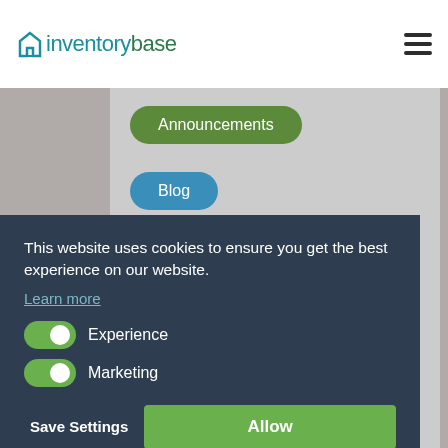inventorybase
Announcements
Blog
Covid-19
This website uses cookies to ensure you get the best experience on our website.
Learn more
Experience
Marketing
Save Settings
Allow
The Landlord's Predicament